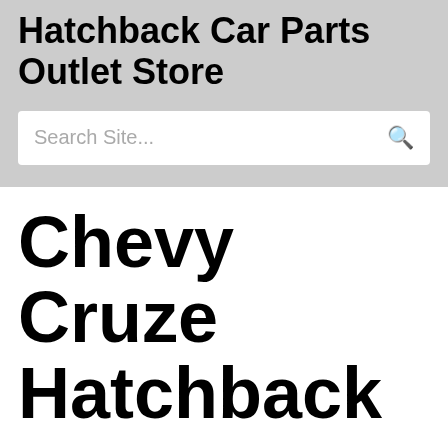Hatchback Car Parts Outlet Store
Search Site...
Chevy Cruze Hatchback